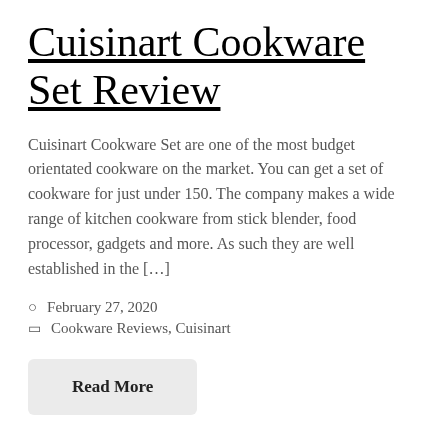Cuisinart Cookware Set Review
Cuisinart Cookware Set are one of the most budget orientated cookware on the market. You can get a set of cookware for just under 150. The company makes a wide range of kitchen cookware from stick blender, food processor, gadgets and more. As such they are well established in the […]
February 27, 2020
Cookware Reviews, Cuisinart
Read More
Anolon vs All Clad Cookware